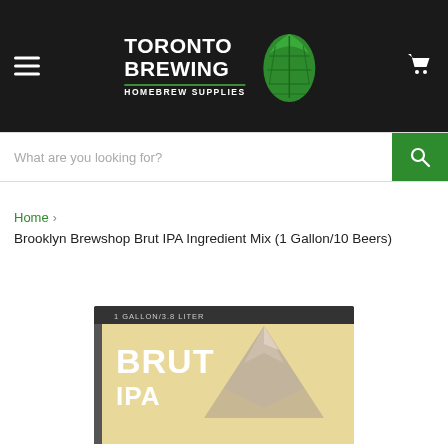Toronto Brewing Homebrew Supplies
What are you looking for?
Home > Brooklyn Brewshop Brut IPA Ingredient Mix (1 Gallon/10 Beers)
[Figure (photo): Product box for Brooklyn Brewshop Brut IPA Ingredient Mix showing a box labeled 1 GALLON/3.8 LITER with BRUT IPA text and a geometric mountain/hop illustration]